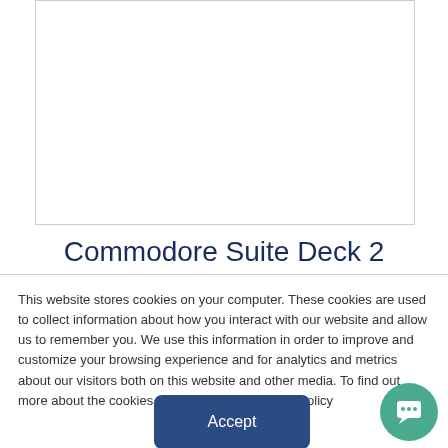[Figure (illustration): White rectangular image area with border, representing a room or suite photo placeholder]
Commodore Suite Deck 2
This website stores cookies on your computer. These cookies are used to collect information about how you interact with our website and allow us to remember you. We use this information in order to improve and customize your browsing experience and for analytics and metrics about our visitors both on this website and other media. To find out more about the cookies we use, see our Privacy Policy
[Figure (other): Accept button (dark blue rounded rectangle) and teal chat bubble icon in bottom right corner]